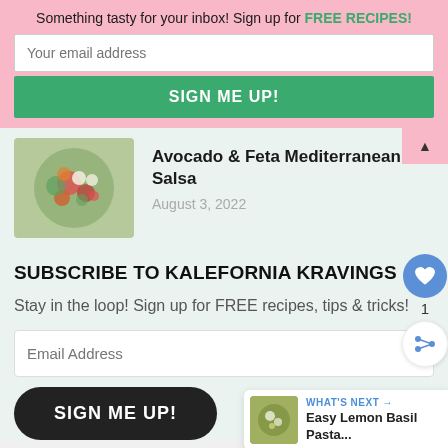Something tasty for your inbox! Sign up for FREE RECIPES!
Your email address
SIGN ME UP!
[Figure (photo): Bowl of Avocado & Feta Mediterranean Salsa with colorful tomatoes, herbs, and feta cheese]
Avocado & Feta Mediterranean Salsa
August 3, 2022
SUBSCRIBE TO KALEFORNIA KRAVINGS
Stay in the loop! Sign up for FREE recipes, tips & tricks!
Email Address
SIGN ME UP!